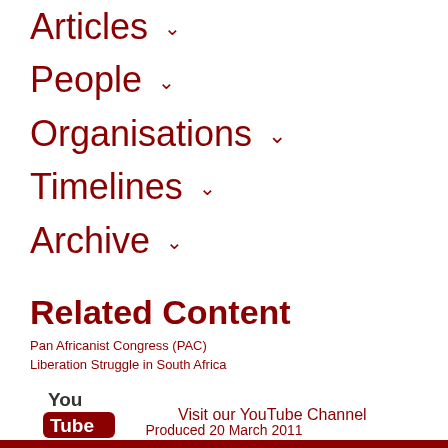Articles ▾
People ▾
Organisations ▾
Timelines ▾
Archive ▾
Related Content
Pan Africanist Congress (PAC)
Liberation Struggle in South Africa
[Figure (logo): YouTube logo icon — red rounded rectangle with white 'Tube' text, grey 'You' text above]
Visit our YouTube Channel
Produced 20 March 2011